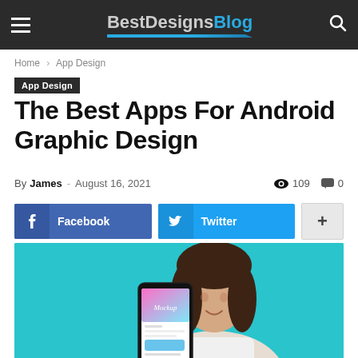BestDesignsBlog
Home › App Design
App Design
The Best Apps For Android Graphic Design
By James - August 16, 2021  109  0
f Facebook  Twitter  +
[Figure (photo): Woman holding an Android smartphone displaying a mockup app interface, against a teal/cyan background]